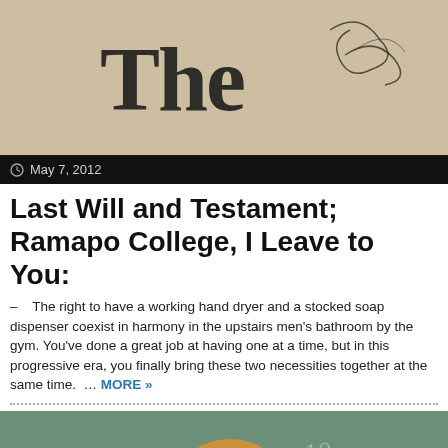[Figure (photo): Top portion of an old handwritten or printed document with decorative gothic lettering and flourishes on a parchment/cream background]
May 7, 2012
Last Will and Testament; Ramapo College, I Leave to You:
– The right to have a working hand dryer and a stocked soap dispenser coexist in harmony in the upstairs men's bathroom by the gym. You've done a great job at having one at a time, but in this progressive era, you finally bring these two necessities together at the same time. … MORE »
[Figure (photo): A bored-looking teenage boy with medium-length blond hair resting his chin on his hand, sitting in a classroom with a chalkboard behind him and a girl in a red top visible to his right]